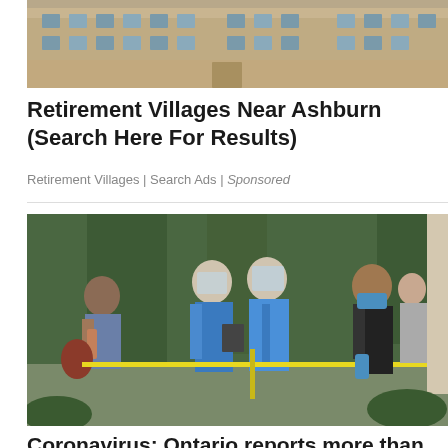[Figure (photo): Stone/brick building facade with classical architecture, tan/beige coloring]
Retirement Villages Near Ashburn (Search Here For Results)
Retirement Villages | Search Ads | Sponsored
[Figure (photo): Healthcare workers in PPE (face shields, blue gowns, masks) and civilians outdoors, separated by yellow caution tape]
Coronavirus: Ontario reports more than